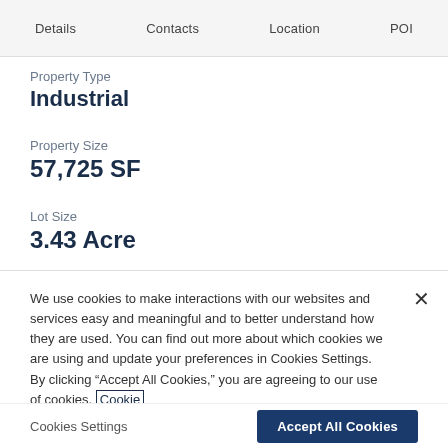Details   Contacts   Location   POI
Property Type
Industrial
Property Size
57,725 SF
Lot Size
3.43 Acre
We use cookies to make interactions with our websites and services easy and meaningful and to better understand how they are used. You can find out more about which cookies we are using and update your preferences in Cookies Settings. By clicking “Accept All Cookies,” you are agreeing to our use of cookies. Cookie Notice.
Cookies Settings
Accept All Cookies